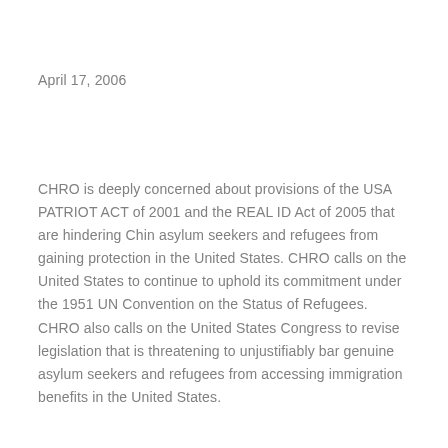April 17, 2006
CHRO is deeply concerned about provisions of the USA PATRIOT ACT of 2001 and the REAL ID Act of 2005 that are hindering Chin asylum seekers and refugees from gaining protection in the United States. CHRO calls on the United States to continue to uphold its commitment under the 1951 UN Convention on the Status of Refugees. CHRO also calls on the United States Congress to revise legislation that is threatening to unjustifiably bar genuine asylum seekers and refugees from accessing immigration benefits in the United States.